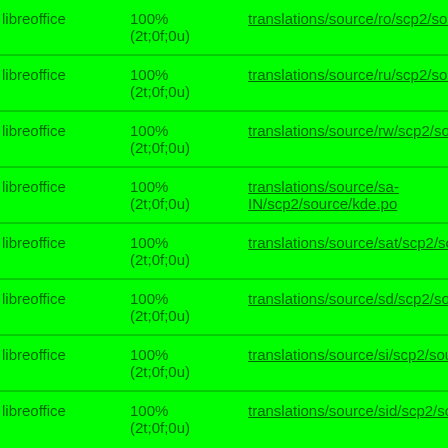| libreoffice | 100%
(2t;0f;0u) | translations/source/ro/scp2/source… |
| libreoffice | 100%
(2t;0f;0u) | translations/source/ru/scp2/source… |
| libreoffice | 100%
(2t;0f;0u) | translations/source/rw/scp2/source… |
| libreoffice | 100%
(2t;0f;0u) | translations/source/sa-IN/scp2/source/kde.po |
| libreoffice | 100%
(2t;0f;0u) | translations/source/sat/scp2/source… |
| libreoffice | 100%
(2t;0f;0u) | translations/source/sd/scp2/source… |
| libreoffice | 100%
(2t;0f;0u) | translations/source/si/scp2/source… |
| libreoffice | 100%
(2t;0f;0u) | translations/source/sid/scp2/source… |